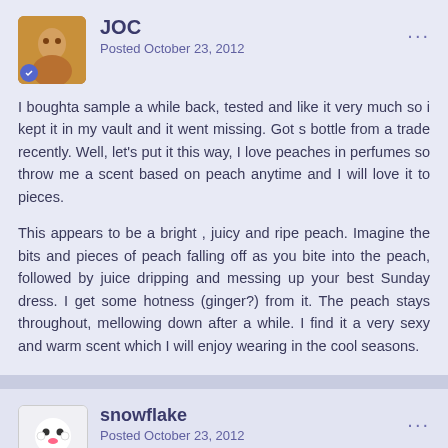JOC — Posted October 23, 2012
I boughta sample a while back, tested and like it very much so i kept it in my vault and it went missing. Got s bottle from a trade recently. Well, let's put it this way, I love peaches in perfumes so throw me a scent based on peach anytime and I will love it to pieces.
This appears to be a bright , juicy and ripe peach. Imagine the bits and pieces of peach falling off as you bite into the peach, followed by juice dripping and messing up your best Sunday dress. I get some hotness (ginger?) from it. The peach stays throughout, mellowing down after a while. I find it a very sexy and warm scent which I will enjoy wearing in the cool seasons.
snowflake — Posted October 23, 2012